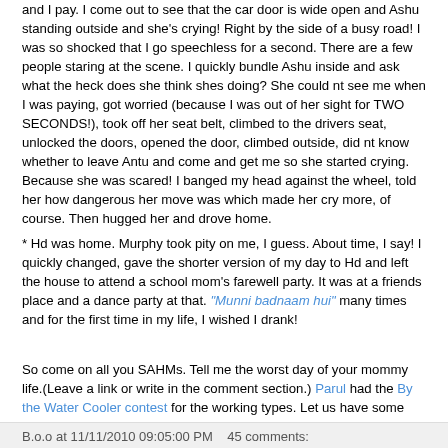and I pay. I come out to see that the car door is wide open and Ashu standing outside and she's crying! Right by the side of a busy road! I was so shocked that I go speechless for a second. There are a few people staring at the scene. I quickly bundle Ashu inside and ask what the heck does she think shes doing? She could nt see me when I was paying, got worried (because I was out of her sight for TWO SECONDS!), took off her seat belt, climbed to the drivers seat, unlocked the doors, opened the door, climbed outside, did nt know whether to leave Antu and come and get me so she started crying. Because she was scared! I banged my head against the wheel, told her how dangerous her move was which made her cry more, of course. Then hugged her and drove home.
* Hd was home. Murphy took pity on me, I guess. About time, I say! I quickly changed, gave the shorter version of my day to Hd and left the house to attend a school mom's farewell party. It was at a friends place and a dance party at that. "Munni badnaam hui" many times and for the first time in my life, I wished I drank!

So come on all you SAHMs. Tell me the worst day of your mommy life.(Leave a link or write in the comment section.) Parul had the By the Water Cooler contest for the working types. Let us have some fun too. May be I ll consider the working moms stories too if its really, really bad! ;) No prizes vrizes because I'm no celebrity author. But I got two shoulders you can cry on!

Whoever said that "Giving birth is the easiest part of Motherhood", show me your feet please. *does saashtaanga namaskaram*
B.o.o at 11/11/2010 09:05:00 PM   45 comments: